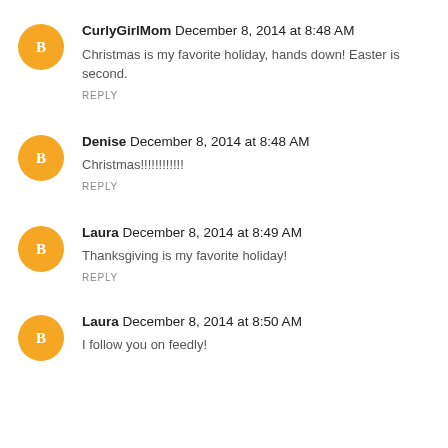CurlyGirlMom December 8, 2014 at 8:48 AM — Christmas is my favorite holiday, hands down! Easter is second. REPLY
Denise December 8, 2014 at 8:48 AM — Christmas!!!!!!!!!!!! REPLY
Laura December 8, 2014 at 8:49 AM — Thanksgiving is my favorite holiday! REPLY
Laura December 8, 2014 at 8:50 AM — I follow you on feedly!